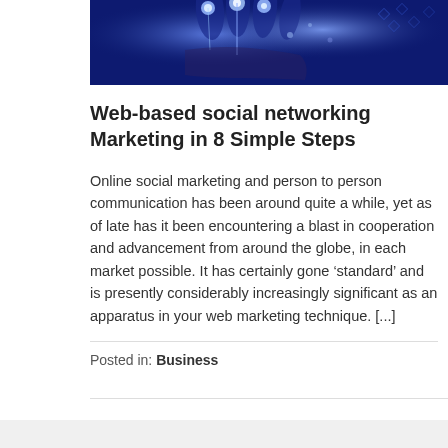[Figure (photo): A hand with glowing blue digital particles and light streaks against a dark blue background, suggesting technology and digital networking.]
Web-based social networking Marketing in 8 Simple Steps
Online social marketing and person to person communication has been around quite a while, yet as of late has it been encountering a blast in cooperation and advancement from around the globe, in each market possible. It has certainly gone ‘standard’ and is presently considerably increasingly significant as an apparatus in your web marketing technique. [...]
Posted in: Business